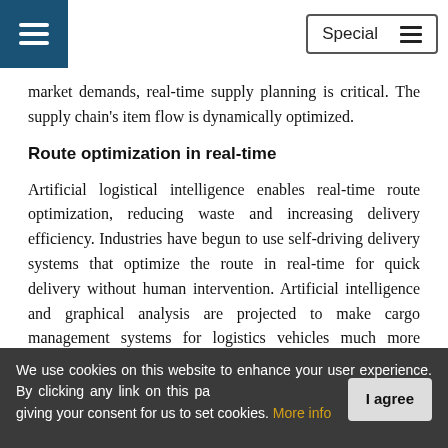Special
market demands, real-time supply planning is critical. The supply chain's item flow is dynamically optimized.
Route optimization in real-time
Artificial logistical intelligence enables real-time route optimization, reducing waste and increasing delivery efficiency. Industries have begun to use self-driving delivery systems that optimize the route in real-time for quick delivery without human intervention. Artificial intelligence and graphical analysis are projected to make cargo management systems for logistics vehicles much more efficient. The shipment cost is lowered, while the shipping procedure is improved.
We use cookies on this website to enhance your user experience. By clicking any link on this page you are giving your consent for us to set cookies. More info